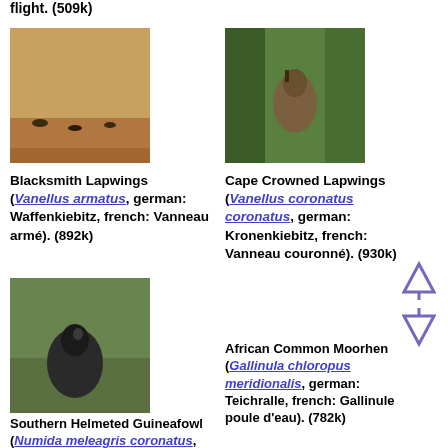flight. (509k)
[Figure (photo): Blacksmith Lapwings on reddish sandy ground]
Blacksmith Lapwings (Vanellus armatus, german: Waffenkiebitz, french: Vanneau armé). (892k)
[Figure (photo): Cape Crowned Lapwings in green grassy area near trees]
Cape Crowned Lapwings (Vanellus coronatus coronatus, german: Kronenkiebitz, french: Vanneau couronné). (930k)
[Figure (photo): Southern Helmeted Guineafowl in grassy area]
Southern Helmeted Guineafowl (Numida meleagris coronatus, german: Helmperlhuhn, french: Pintade de Numidie). (1180k)
African Common Moorhen (Gallinula chloropus meridionalis, german: Teichralle, french: Gallinule poule d'eau). (782k)